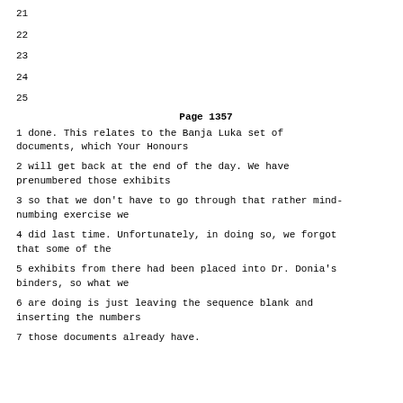21
22
23
24
25
Page 1357
1 done. This relates to the Banja Luka set of documents, which Your Honours
2 will get back at the end of the day. We have prenumbered those exhibits
3 so that we don't have to go through that rather mind-numbing exercise we
4 did last time. Unfortunately, in doing so, we forgot that some of the
5 exhibits from there had been placed into Dr. Donia's binders, so what we
6 are doing is just leaving the sequence blank and inserting the numbers
7 those documents already have.